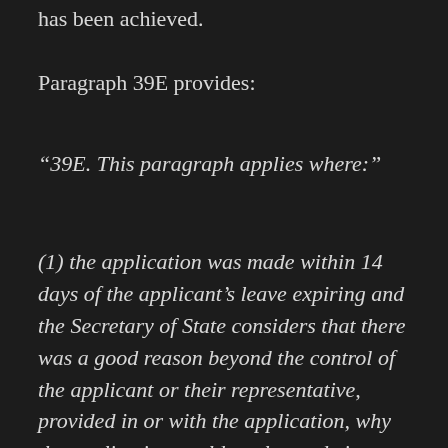has been achieved.
Paragraph 39E provides:
“39E. This paragraph applies where:”
(1) the application was made within 14 days of the applicant’s leave expiring and the Secretary of State considers that there was a good reason beyond the control of the applicant or their representative, provided in or with the application, why the application could not be made in-time; or